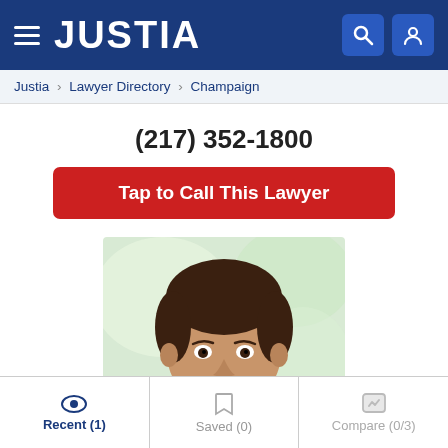JUSTIA
Justia > Lawyer Directory > Champaign
(217) 352-1800
Tap to Call This Lawyer
[Figure (photo): Headshot of a young male attorney with short dark hair, smiling, light background]
Recent (1)  Saved (0)  Compare (0/3)